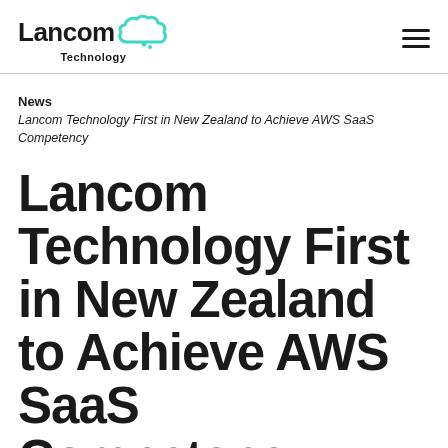Lancom Technology
News
Lancom Technology First in New Zealand to Achieve AWS SaaS Competency
Lancom Technology First in New Zealand to Achieve AWS SaaS Competency
WRITTEN BY LANCOM COMMUNICATIONS, JULY 2020